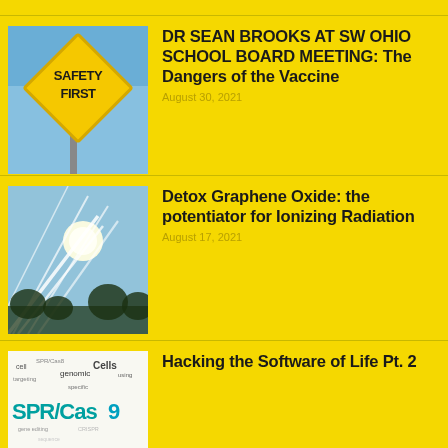[Figure (photo): Yellow diamond-shaped 'SAFETY FIRST' road sign against a blue sky]
DR SEAN BROOKS AT SW OHIO SCHOOL BOARD MEETING: The Dangers of the Vaccine
August 30, 2021
[Figure (photo): Sky with chemtrails (white streaks) and bright sun]
Detox Graphene Oxide: the potentiator for Ionizing Radiation
August 17, 2021
[Figure (photo): Word cloud with biological/genomic terms including SPR/Cas9, cell, targeting, cells, genomic, specific]
Hacking the Software of Life Pt. 2